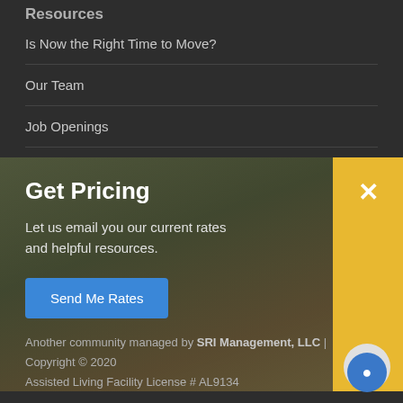Resources
Is Now the Right Time to Move?
Our Team
Job Openings
Community Blog
[Figure (screenshot): Get Pricing popup modal overlaid on a building photo. Contains bold white title 'Get Pricing', white text 'Let us email you our current rates and helpful resources.', a blue 'Send Me Rates' button, and a yellow close bar on the right with a white X.]
Another community managed by SRI Management, LLC | Copyright © 2020
Assisted Living Facility License # AL9134